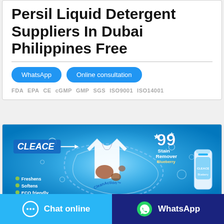Persil Liquid Detergent Suppliers In Dubai Philippines Free
WhatsApp  Online consultation
FDA  EPA  CE  cGMP  GMP  SGS  ISO9001  ISO14001
[Figure (illustration): Cleace 99 Stain Remover Blueberry liquid detergent advertisement banner with white shirt, stain removal visuals, bubbles, and product bottle. Bullet points: Freshens, Softens, ECO friendly.]
Chat online
WhatsApp